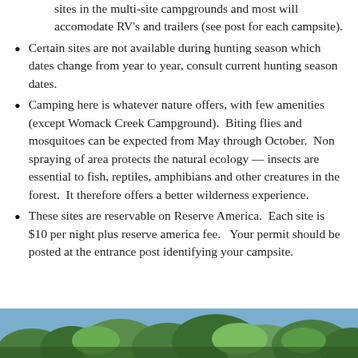sites in the multi-site campgrounds and most will accomodate RV's and trailers (see post for each campsite).
Certain sites are not available during hunting season which dates change from year to year, consult current hunting season dates.
Camping here is whatever nature offers, with few amenities (except Womack Creek Campground).  Biting flies and mosquitoes can be expected from May through October.  Non spraying of area protects the natural ecology — insects are essential to fish, reptiles, amphibians and other creatures in the forest.  It therefore offers a better wilderness experience.
These sites are reservable on Reserve America.  Each site is $10 per night plus reserve america fee.   Your permit should be posted at the entrance post identifying your campsite.
[Figure (photo): Outdoor nature/forest scene showing trees and sky, cropped at bottom of page]